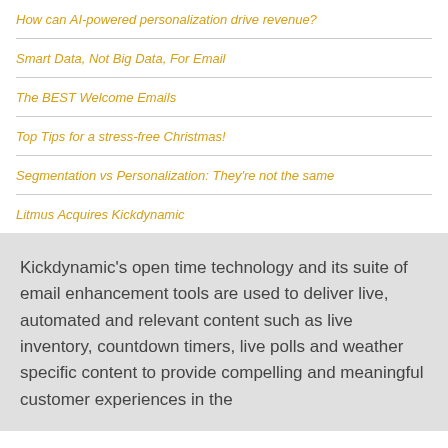How can AI-powered personalization drive revenue?
Smart Data, Not Big Data, For Email
The BEST Welcome Emails
Top Tips for a stress-free Christmas!
Segmentation vs Personalization: They're not the same
Litmus Acquires Kickdynamic
Kickdynamic's open time technology and its suite of email enhancement tools are used to deliver live, automated and relevant content such as live inventory, countdown timers, live polls and weather specific content to provide compelling and meaningful customer experiences in the